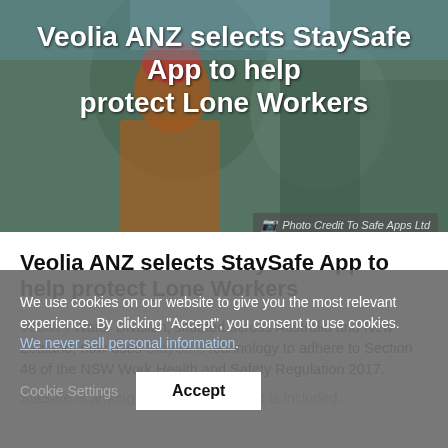[Figure (photo): Hero image of a worker in safety gear (orange life vest, hard hat) with blue sky background. Title text overlaid in white bold font.]
Veolia ANZ selects StaySafe App to help protect Lone Workers
Photo Credit To Safe Apps Ltd
Veolia ANZ selects StaySafe App to help protect Lone Workers
Veolia's Water Division, situated across Australia and New Zealand, now uses StaySafe technology to adhere to Section 48 of the NSW Work Health and Safety Regulation 2017.
We use cookies on our website to give you the most relevant experience. By clicking "Accept", you consent to use cookies. We never sell personal information.